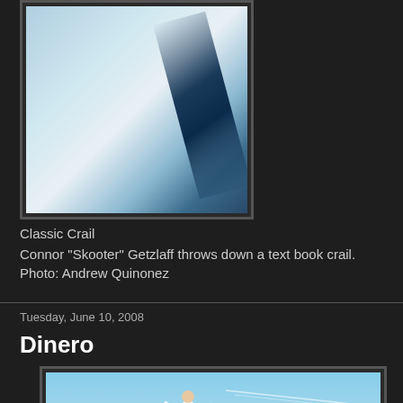[Figure (photo): Close-up photo of a skateboarding trick, Classic Crail, showing blue colored surface with black marks]
Classic Crail
Connor "Skooter" Getzlaff throws down a text book crail.
Photo: Andrew Quinonez
Tuesday, June 10, 2008
Dinero
[Figure (photo): Photo of a skateboarder in mid-air against a blue sky, performing a trick]